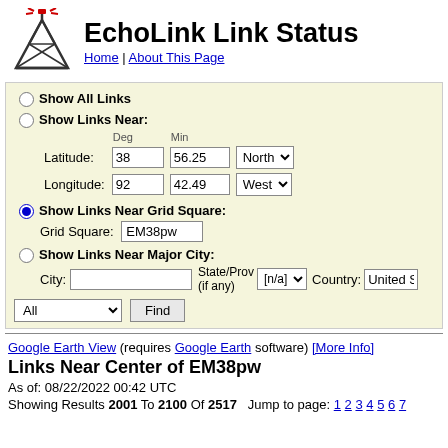EchoLink Link Status
Home | About This Page
Show All Links
Show Links Near:
Deg  Min
Latitude: 38  56.25  North
Longitude: 92  42.49  West
Show Links Near Grid Square:
Grid Square: EM38pw
Show Links Near Major City:
City:  State/Prov (if any): [n/a]  Country: United S
All  Find
Google Earth View (requires Google Earth software) [More Info]
Links Near Center of EM38pw
As of: 08/22/2022 00:42 UTC
Showing Results 2001 To 2100 Of 2517   Jump to page: 1 2 3 4 5 6 7